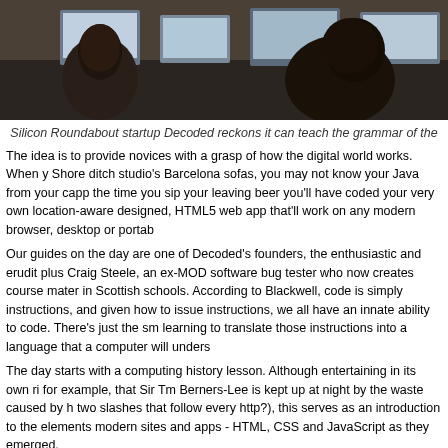[Figure (photo): Photo of people sitting at computers, viewed from behind, in a studio or classroom setting. Two people with dark hair visible.]
Silicon Roundabout startup Decoded reckons it can teach the grammar of the
The idea is to provide novices with a grasp of how the digital world works. When y Shore ditch studio's Barcelona sofas, you may not know your Java from your capp the time you sip your leaving beer you'll have coded your very own location-aware designed, HTML5 web app that'll work on any modern browser, desktop or portab
Our guides on the day are one of Decoded's founders, the enthusiastic and erudit plus Craig Steele, an ex-MOD software bug tester who now creates course mater in Scottish schools. According to Blackwell, code is simply instructions, and given how to issue instructions, we all have an innate ability to code. There's just the sm learning to translate those instructions into a language that a computer will unders
The day starts with a computing history lesson. Although entertaining in its own ri for example, that Sir Tm Berners-Lee is kept up at night by the waste caused by h two slashes that follow every http?), this serves as an introduction to the elements modern sites and apps - HTML, CSS and JavaScript as they emerged.
[Figure (photo): Placeholder image icon for 'The day starts with a computing history lesson']
The day starts with a computing history lesson
Next, there's a look under the hood of a few sites using browsers' built-in debuggi how this code manifests itself on our desktops (you can do the same - just right-cl page on Chrome or Firefox and select 'inspect element'). Once we've grasped the least pretended we have), we move to a 'power table' laid out with 11in MacBook introduced to Coda 2, the professional editing software we'll be typing into for the